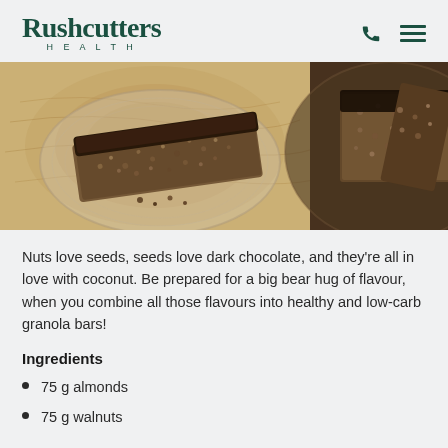Rushcutters HEALTH
[Figure (photo): Granola bars with dark chocolate coating on wooden board with glass plates]
Nuts love seeds, seeds love dark chocolate, and they're all in love with coconut. Be prepared for a big bear hug of flavour, when you combine all those flavours into healthy and low-carb granola bars!
Ingredients
75 g almonds
75 g walnuts